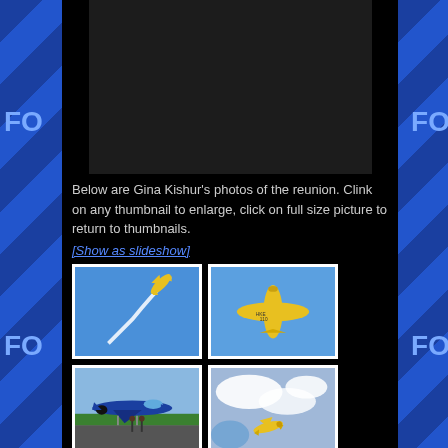[Figure (photo): Dark/black rectangular area representing a video or image placeholder at top of page]
Below are Gina Kishur's photos of the reunion. Clink on any thumbnail to enlarge, click on full size picture to return to thumbnails.
[Show as slideshow]
[Figure (photo): Yellow airplane performing aerobatics with white smoke trail against blue sky - thumbnail 1]
[Figure (photo): Yellow airplane viewed from below against blue sky - thumbnail 2]
[Figure (photo): Blue Angels jet on tarmac with people standing nearby - thumbnail 3]
[Figure (photo): Yellow airplane against sky with clouds - thumbnail 4]